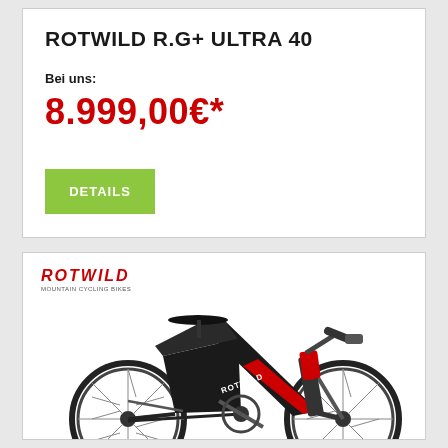ROTWILD R.G+ ULTRA 40
Bei uns:
8.999,00€*
DETAILS
[Figure (photo): Rotwild logo with tagline and a side-profile photo of a Rotwild R.G+ Ultra 40 mountain bike in black and red colorway with large wheels]